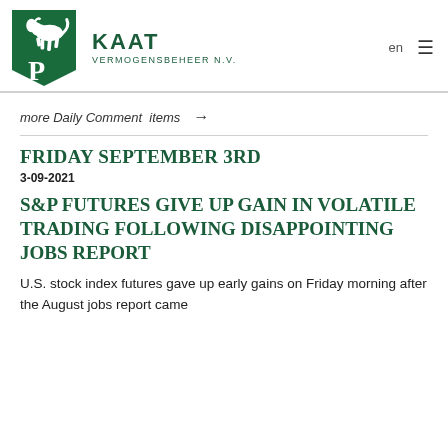KAAT VERMOGENSBEHEER N.V.
more Daily Comment items →
FRIDAY SEPTEMBER 3RD
3-09-2021
S&P FUTURES GIVE UP GAIN IN VOLATILE TRADING FOLLOWING DISAPPOINTING JOBS REPORT
U.S. stock index futures gave up early gains on Friday morning after the August jobs report came